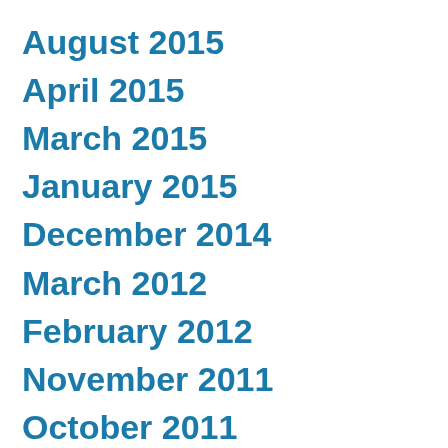August 2015
April 2015
March 2015
January 2015
December 2014
March 2012
February 2012
November 2011
October 2011
September 2011
August 2011